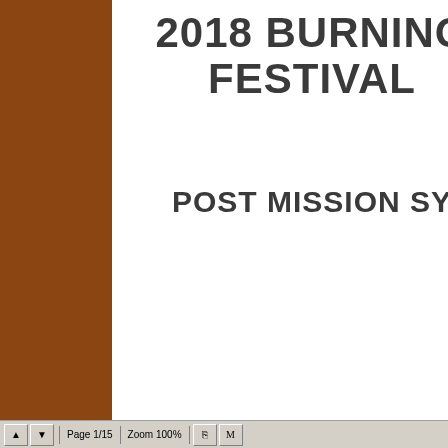2018 BURNING FESTIVAL
POST MISSION SY
Page 1/15   Zoom 100%